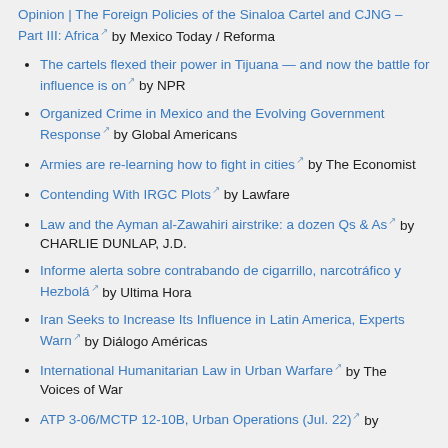Opinion | The Foreign Policies of the Sinaloa Cartel and CJNG – Part III: Africa [ext] by Mexico Today / Reforma
The cartels flexed their power in Tijuana — and now the battle for influence is on [ext] by NPR
Organized Crime in Mexico and the Evolving Government Response [ext] by Global Americans
Armies are re-learning how to fight in cities [ext] by The Economist
Contending With IRGC Plots [ext] by Lawfare
Law and the Ayman al-Zawahiri airstrike: a dozen Qs & As [ext] by CHARLIE DUNLAP, J.D.
Informe alerta sobre contrabando de cigarrillo, narcotráfico y Hezbolá [ext] by Ultima Hora
Iran Seeks to Increase Its Influence in Latin America, Experts Warn [ext] by Diálogo Américas
International Humanitarian Law in Urban Warfare [ext] by The Voices of War
ATP 3-06/MCTP 12-10B, Urban Operations (Jul. 22) [ext] by ...